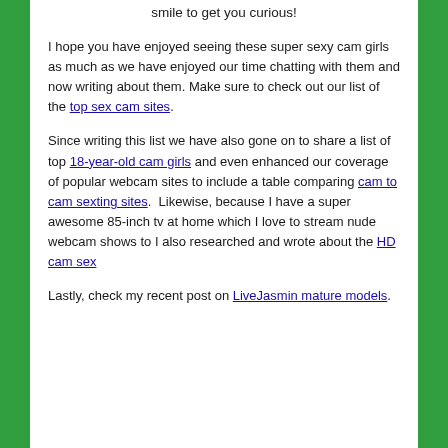smile to get you curious!
I hope you have enjoyed seeing these super sexy cam girls as much as we have enjoyed our time chatting with them and now writing about them. Make sure to check out our list of the top sex cam sites.
Since writing this list we have also gone on to share a list of top 18-year-old cam girls and even enhanced our coverage of popular webcam sites to include a table comparing cam to cam sexting sites. Likewise, because I have a super awesome 85-inch tv at home which I love to stream nude webcam shows to I also researched and wrote about the HD cam sex
Lastly, check my recent post on LiveJasmin mature models.